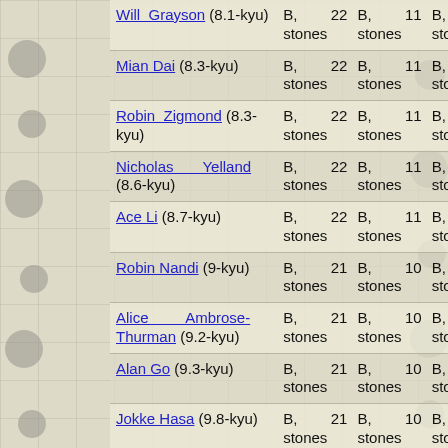| Player | Col2 | Col3 | Col4 |
| --- | --- | --- | --- |
| Will Grayson (8.1-kyu) | B, 22 stones | B, 11 stones | B, 5 stones |
| Mian Dai (8.3-kyu) | B, 22 stones | B, 11 stones | B, 5 stones |
| Robin Zigmond (8.3-kyu) | B, 22 stones | B, 11 stones | B, 5 stones |
| Nicholas Yelland (8.6-kyu) | B, 22 stones | B, 11 stones | B, 4 stones |
| Ace Li (8.7-kyu) | B, 22 stones | B, 11 stones | B, 4 stones |
| Robin Nandi (9-kyu) | B, 21 stones | B, 10 stones | B, 4 stones |
| Alice Ambrose-Thurman (9.2-kyu) | B, 21 stones | B, 10 stones | B, 4 stones |
| Alan Go (9.3-kyu) | B, 21 stones | B, 10 stones | B, 4 stones |
| Jokke Hasa (9.8-kyu) | B, 21 stones | B, 10 stones | B, 4 stones |
| Wenhai (?) (9.9-kyu) | B, 20 stones | B, 10 stones | B, 4 stones |
| Will Taylor (2) (10-kyu) | B, 20 stones | B, 10 stones | B, 4 stones |
| Gregor Welsh (10-kyu) | B, 20 stones | B, 10 stones | B, 4 stones |